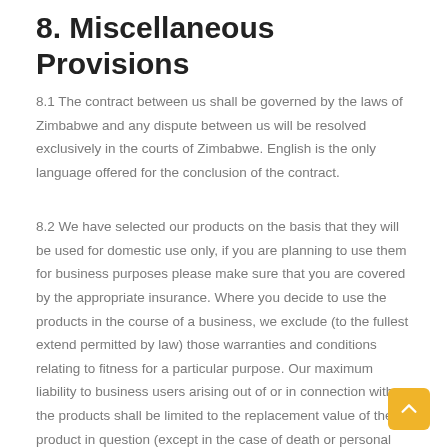8. Miscellaneous Provisions
8.1 The contract between us shall be governed by the laws of Zimbabwe and any dispute between us will be resolved exclusively in the courts of Zimbabwe. English is the only language offered for the conclusion of the contract.
8.2 We have selected our products on the basis that they will be used for domestic use only, if you are planning to use them for business purposes please make sure that you are covered by the appropriate insurance. Where you decide to use the products in the course of a business, we exclude (to the fullest extend permitted by law) those warranties and conditions relating to fitness for a particular purpose. Our maximum liability to business users arising out of or in connection with the products shall be limited to the replacement value of the product in question (except in the case of death or personal injury